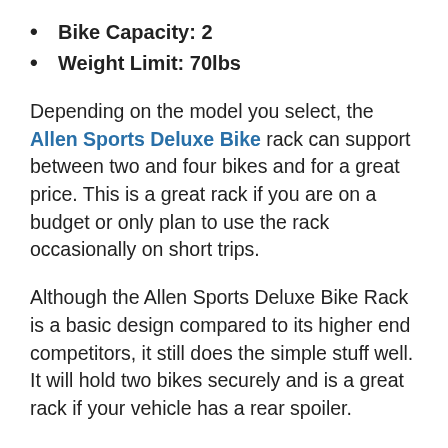Bike Capacity: 2
Weight Limit: 70lbs
Depending on the model you select, the Allen Sports Deluxe Bike rack can support between two and four bikes and for a great price. This is a great rack if you are on a budget or only plan to use the rack occasionally on short trips.
Although the Allen Sports Deluxe Bike Rack is a basic design compared to its higher end competitors, it still does the simple stuff well. It will hold two bikes securely and is a great rack if your vehicle has a rear spoiler.